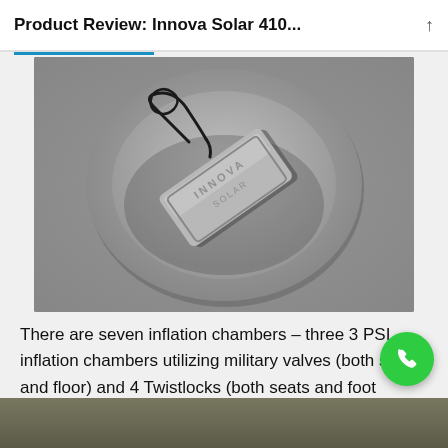Product Review: Innova Solar 410...
[Figure (photo): Close-up photo of a gray inflatable valve/cap with an oval recessed surround. A rectangular plastic cap with 'INNOVA' text embossed sits at an angle, with a black tether cord attached.]
There are seven inflation chambers – three 3 PSI inflation chambers utilizing military valves (both sides and floor) and 4 Twistlocks (both seats and foot braces.)
[Figure (photo): Partial bottom strip showing rocky/gravel ground, cropped.]